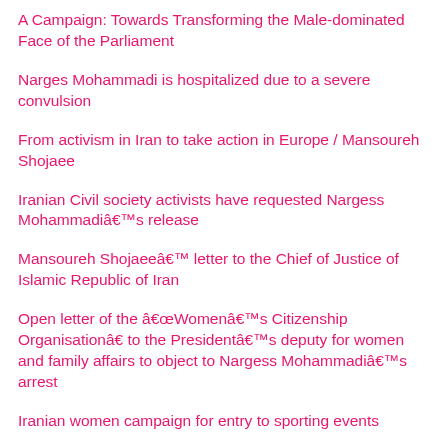A Campaign: Towards Transforming the Male-dominated Face of the Parliament
Narges Mohammadi is hospitalized due to a severe convulsion
From activism in Iran to take action in Europe / Mansoureh Shojaee
Iranian Civil society activists have requested Nargess Mohammadiâs release
Mansoureh Shojaeeâ letter to the Chief of Justice of Islamic Republic of Iran
Open letter of the “Womenâs Citizenship Organisationâ to the Presidentâs deputy for women and family affairs to object to Nargess Mohammadiâs arrest
Iranian women campaign for entry to sporting events
From the Underground to the University: Pictures of the